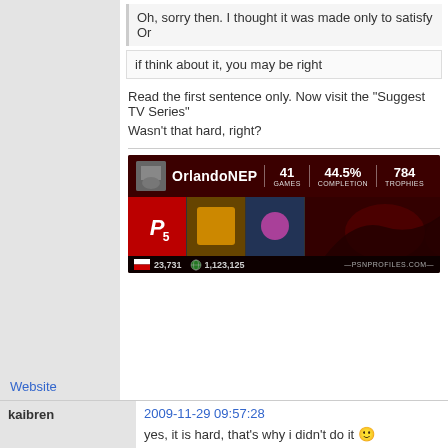Oh, sorry then. I thought it was made only to satisfy Or
if think about it, you may be right
Read the first sentence only. Now visit the "Suggest TV Series"
Wasn't that hard, right?
[Figure (screenshot): PSN profile banner for OrlandoNEP showing 41 games, 44.5% completion, 784 trophies, 23,731 points, 1,123,125 score, with game tiles and artwork]
Website
kaibren
2009-11-29 09:57:28
yes, it is hard, that's why i didn't do it 🙂